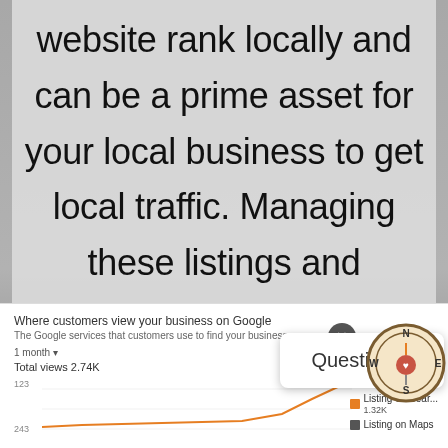website rank locally and can be a prime asset for your local business to get local traffic. Managing these listings and optimizing them to perform better than your competitors is what our agency aims to do during your campaign.
[Figure (screenshot): Google Business Profile dashboard showing 'Where customers view your business on Google' with a line chart, total views 2.74K, 1 month period, y-axis labels 123 and 243, legend showing Listing on Search 1.32K and Listing on Maps]
[Figure (logo): Ranger Roofing USA compass logo with N/S/E/W directions and orange accent]
Questions?